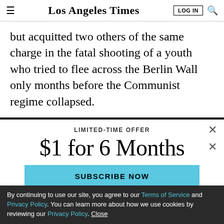Los Angeles Times
but acquitted two others of the same charge in the fatal shooting of a youth who tried to flee across the Berlin Wall only months before the Communist regime collapsed.
LIMITED-TIME OFFER
$1 for 6 Months
SUBSCRIBE NOW
By continuing to use our site, you agree to our Terms of Service and Privacy Policy. You can learn more about how we use cookies by reviewing our Privacy Policy. Close